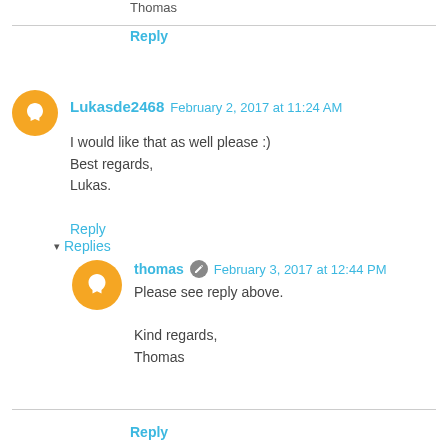Thomas
Reply
Lukasde2468  February 2, 2017 at 11:24 AM
I would like that as well please :)
Best regards,
Lukas.
Reply
▾ Replies
thomas  February 3, 2017 at 12:44 PM
Please see reply above.

Kind regards,
Thomas
Reply